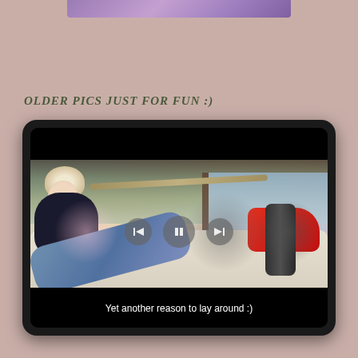[Figure (photo): Purple/lavender colored image strip at top of page, partially cropped]
OLDER PICS JUST FOR FUN :)
[Figure (screenshot): Tablet/slideshow player showing a 3D virtual world character (blonde woman in black top, jeans, red Converse shoes, lounging) with playback controls (back, pause, forward) and subtitle text 'Yet another reason to lay around :)']